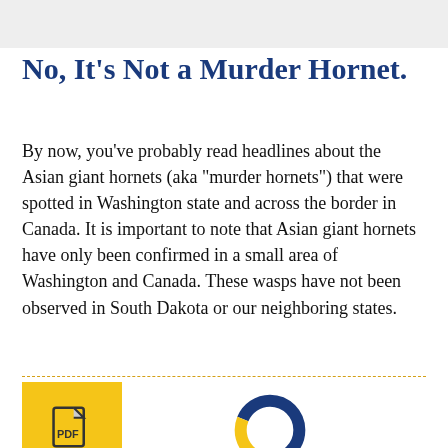[Figure (photo): Faded/greyed out image area at top of page]
No, It’s Not a Murder Hornet.
By now, you’ve probably read headlines about the Asian giant hornets (aka “murder hornets”) that were spotted in Washington state and across the border in Canada. It is important to note that Asian giant hornets have only been confirmed in a small area of Washington and Canada. These wasps have not been observed in South Dakota or our neighboring states.
[Figure (illustration): Yellow square icon with a PDF document icon (acrobat logo) in dark color]
[Figure (illustration): Partial donut chart in blue and yellow, partially visible at the bottom of the page]